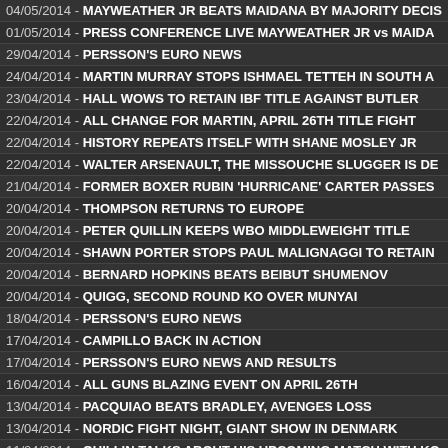04/05/2014 - MAYWEATHER JR BEATS MAIDANA BY MAJORITY DECIS...
01/05/2014 - PRESS CONFERENCE LIVE MAYWEATHER JR vs MAIDA...
29/04/2014 - PERSSON'S EURO NEWS
24/04/2014 - MARTIN MURRAY STOPS ISHMAEL TETTEH IN SOUTH A...
23/04/2014 - HALL WOWS TO RETAIN IBF TITLE AGAINST BUTLER
22/04/2014 - ALL CHANGE FOR MARTIN, APRIL 26TH TITLE FIGHT
22/04/2014 - HISTORY REPEATS ITSELF WITH SHANE MOSLEY JR
22/04/2014 - WALTER ARSENAULT, THE MISSOUCHE SLUGGER IS DE...
21/04/2014 - FORMER BOXER RUBIN 'HURRICANE' CARTER PASSES...
20/04/2014 - THOMPSON RETURNS TO EUROPE
20/04/2014 - PETER QUILLIN KEEPS WBO MIDDLEWEIGHT TITLE
20/04/2014 - SHAWN PORTER STOPS PAUL MALIGNAGGI TO RETAIN...
20/04/2014 - BERNARD HOPKINS BEATS BEIBUT SHUMENOV
20/04/2014 - QUIGG, SECOND ROUND KO OVER MUNYAI
18/04/2014 - PERSSON'S EURO NEWS
17/04/2014 - CAMPILLO BACK IN ACTION
17/04/2014 - PERSSON'S EURO NEWS AND RESULTS
16/04/2014 - ALL GUNS BLAZING EVENT ON APRIL 26TH
13/04/2014 - PACQUIAO BEATS BRADLEY, AVENGES LOSS
13/04/2014 - NORDIC FIGHT NIGHT, GIANT SHOW IN DENMARK
11/04/2014 - QUILLIN TALKS ABOUT HIS UPCOMING MATCH WITH KO...
11/04/2014 - JAMES DeGALE vs BRANDON GONZALES, IBF FINAL EL...
10/04/2014 - PERSSON'S EURO NEWS AND RESULTS
09/04/2014 - PROFESSIONAL BOXING COULD RETURN IN NORWAY
09/04/2014 - JOSHUA CLOTTEY BEATS ANTHONY MUNDINE
08/04/2014 - PERSSON'S EURO NEWS